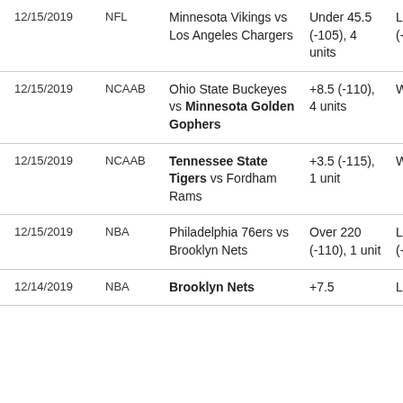| Date | League | Matchup | Bet | Result |
| --- | --- | --- | --- | --- |
| 12/15/2019 | NFL | Minnesota Vikings vs Los Angeles Chargers | Under 45.5 (-105), 4 units | Loss (-420) |
| 12/15/2019 | NCAAB | Ohio State Buckeyes vs Minnesota Golden Gophers | +8.5 (-110), 4 units | Win (+400) |
| 12/15/2019 | NCAAB | Tennessee State Tigers vs Fordham Rams | +3.5 (-115), 1 unit | Win (+100) |
| 12/15/2019 | NBA | Philadelphia 76ers vs Brooklyn Nets | Over 220 (-110), 1 unit | Loss (-110) |
| 12/14/2019 | NBA | Brooklyn Nets | +7.5 | Loss |